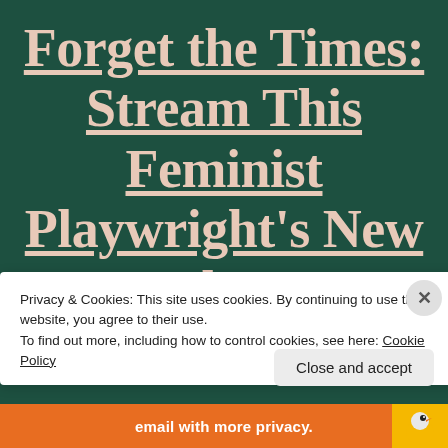Forget the Times: Stream This Feminist Playwright's New Work Now
Privacy & Cookies: This site uses cookies. By continuing to use this website, you agree to their use.
To find out more, including how to control cookies, see here: Cookie Policy
Close and accept
email with more privacy.